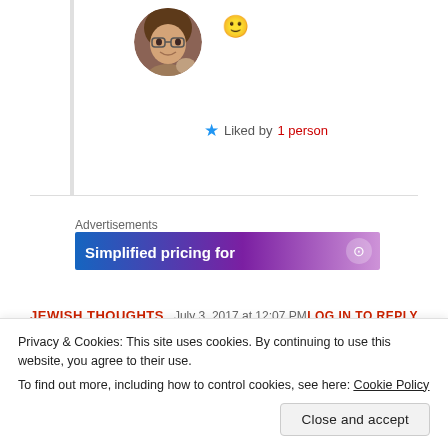[Figure (photo): Circular profile photo of a woman with glasses and brown hair]
🙂
★ Liked by 1 person
Advertisements
[Figure (screenshot): Advertisement banner with blue-to-purple gradient reading 'Simplified pricing for']
JEWISH THOUGHTS   July 3, 2017 at 12:07 PM   LOG IN TO REPLY
Privacy & Cookies: This site uses cookies. By continuing to use this website, you agree to their use.
To find out more, including how to control cookies, see here: Cookie Policy
Close and accept